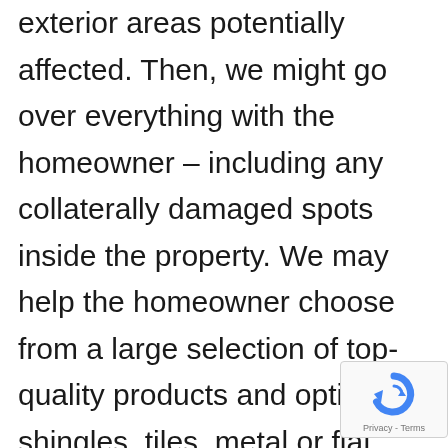exterior areas potentially affected. Then, we might go over everything with the homeowner – including any collaterally damaged spots inside the property. We may help the homeowner choose from a large selection of top-quality products and options for shingles, tiles, metal or flat roofing products. One of our roofing pros might communicate and meet with you consistently and as your job advances and might meet with
[Figure (logo): reCAPTCHA badge with blue circular arrow logo and Privacy - Terms text]